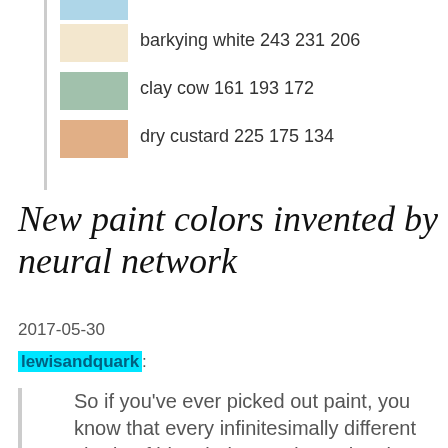[Figure (infographic): Color swatches for paint colors: partial blue swatch at top, then barkying white (RGB 243 231 206), clay cow (RGB 161 193 172), dry custard (RGB 225 175 134)]
New paint colors invented by neural network
2017-05-30
lewisandquark:
So if you've ever picked out paint, you know that every infinitesimally different shade of blue, beige, and gray has its own descriptive, attractive name. Tucson sunrise, blushing pear...